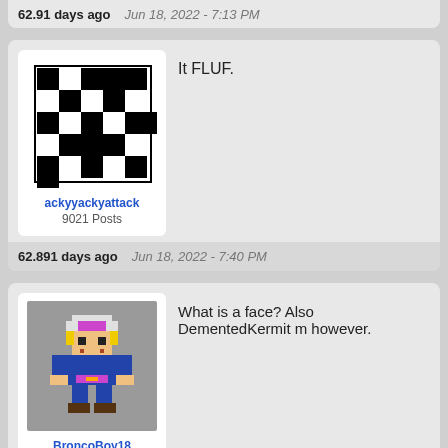62.91 days ago   Jun 18, 2022 - 7:13 PM
[Figure (illustration): Black and white checkerboard pixel avatar for user ackyyackyattack]
ackyyackyattack
9021 Posts
It FLUF.
62.891 days ago   Jun 18, 2022 - 7:40 PM
[Figure (illustration): Pixel art game character avatar (white/pink hat character) on grey background for user BroncoBoy18]
BroncoBoy18
What is a face? Also DementedKermit m however.